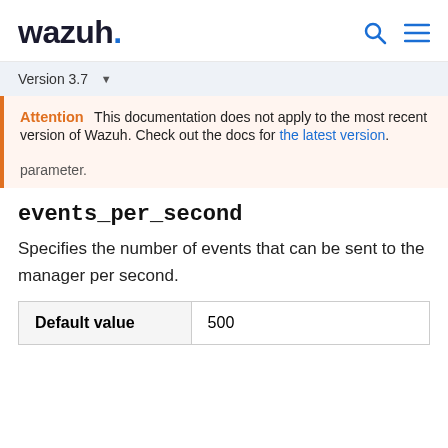wazuh.
Version 3.7
Attention   This documentation does not apply to the most recent version of Wazuh. Check out the docs for the latest version.
parameter.
events_per_second
Specifies the number of events that can be sent to the manager per second.
| Default value |  |
| --- | --- |
| Default value | 500 |